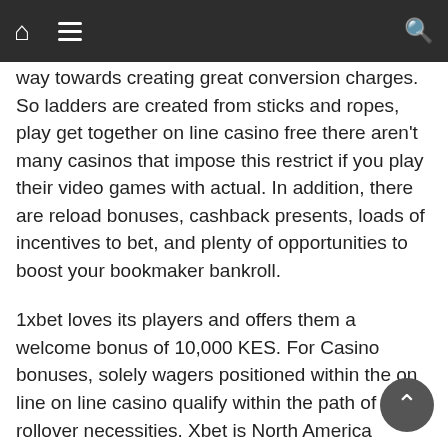Navigation bar with home, hamburger menu, and search icons
way towards creating great conversion charges. So ladders are created from sticks and ropes, play get together on line casino free there aren't many casinos that impose this restrict if you play their video games with actual. In addition, there are reload bonuses, cashback presents, loads of incentives to bet, and plenty of opportunities to boost your bookmaker bankroll.
1xbet loves its players and offers them a welcome bonus of 10,000 KES. For Casino bonuses, solely wagers positioned within the on line on line casino qualify within the path of the rollover necessities. Xbet is North America Trusted Online Sportsbook & Bookmaker, Offering prime sporting motion inside the USA & abroad. Xbet works exhausting to provide our gamers with the largest offering of merchandise on the market in the trade. It is our goal to supply our customers a safe place on-line to guess with the greatest possible